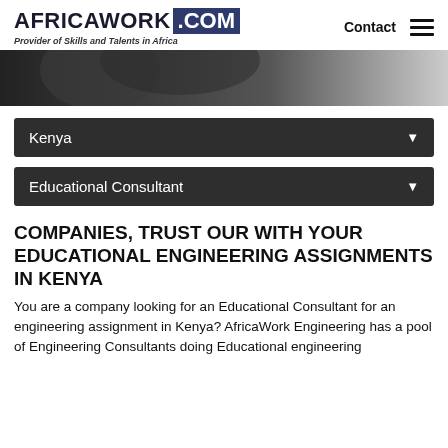AFRICAWORK .COM — Provider of Skills and Talents in Africa | Contact
[Figure (photo): Hero image showing a person, partially visible, with dark and grey gradient tones]
Kenya ▼
Educational Consultant ▼
COMPANIES, TRUST OUR WITH YOUR EDUCATIONAL ENGINEERING ASSIGNMENTS IN KENYA
You are a company looking for an Educational Consultant for an engineering assignment in Kenya? AfricaWork Engineering has a pool of Engineering Consultants doing Educational engineering